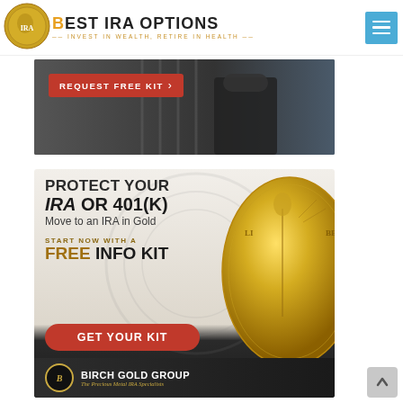[Figure (logo): Best IRA Options logo with gold coins and hamburger menu icon]
[Figure (photo): Banner image of person in dark suit with a red REQUEST FREE KIT button overlay]
[Figure (infographic): Birch Gold Group advertisement: PROTECT YOUR IRA OR 401(k), Move to an IRA in Gold, START NOW WITH A FREE INFO KIT, GET YOUR KIT red button, large gold coin, Birch Gold Group footer logo]